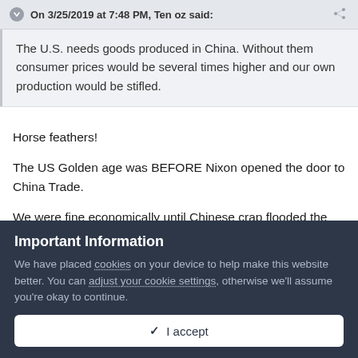On 3/25/2019 at 7:48 PM, Ten oz said:
The U.S. needs goods produced in China. Without them consumer prices would be several times higher and our own production would be stifled.
Horse feathers!
The US Golden age was BEFORE Nixon opened the door to China Trade.
We were fine economically until Chinese crap flooded the market and obliterated American manufacturing.
Important Information
We have placed cookies on your device to help make this website better. You can adjust your cookie settings, otherwise we'll assume you're okay to continue.
✓  I accept